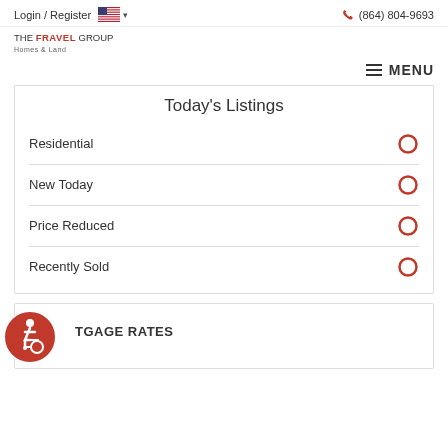Login / Register   (864) 804-9693
[Figure (logo): THE FRAVEL GROUP Homes & Land logo]
MENU
Today's Listings
Residential
New Today
Price Reduced
Recently Sold
TGAGE RATES